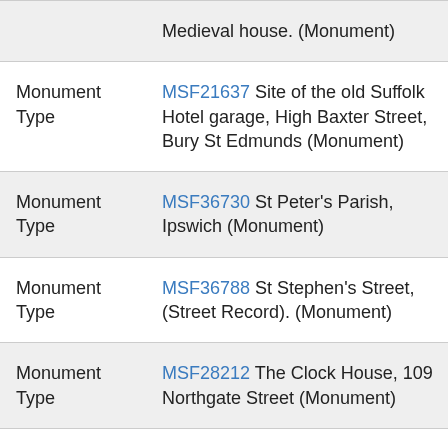| Type | Monument |
| --- | --- |
| Monument Type | Medieval house. (Monument) |
| Monument Type | MSF21637 Site of the old Suffolk Hotel garage, High Baxter Street, Bury St Edmunds (Monument) |
| Monument Type | MSF36730 St Peter's Parish, Ipswich (Monument) |
| Monument Type | MSF36788 St Stephen's Street, (Street Record). (Monument) |
| Monument Type | MSF28212 The Clock House, 109 Northgate Street (Monument) |
| Monument Type | MSF21036 The Maltings, Westgate Street (Monument) |
| Monument | MSF14966 The Meadows, |